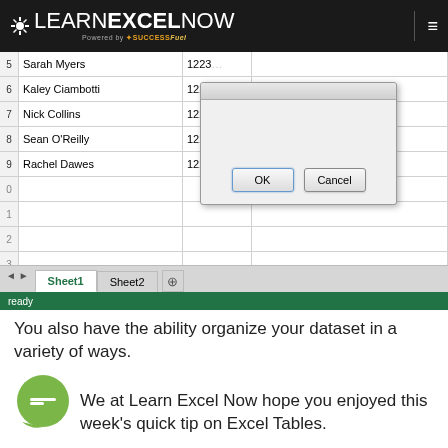LEARNEXCELNOW — Powered by SuccessFuel
[Figure (screenshot): Excel spreadsheet showing rows 5-13 with names (Sarah Myers, Kaley Ciambotti, Nick Collins, Sean O'Reilly, Rachel Dawes) and numbers (1223...), with a dialog box showing OK and Cancel buttons, and sheet tabs Sheet1 and Sheet2 at the bottom]
You also have the ability organize your dataset in a variety of ways.
We at Learn Excel Now hope you enjoyed this week's quick tip on Excel Tables.